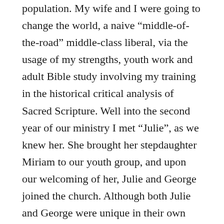population. My wife and I were going to change the world, a naive “middle-of-the-road” middle-class liberal, via the usage of my strengths, youth work and adult Bible study involving my training in the historical critical analysis of Sacred Scripture. Well into the second year of our ministry I met “Julie”, as we knew her. She brought her stepdaughter Miriam to our youth group, and upon our welcoming of her, Julie and George joined the church. Although both Julie and George were unique in their own right, I am hardly able to tell a story of either without remembering the other. So forgive me if I constantly speak of Julie and George or George and Julie.
Picture them, if you will, as the Brady Bunch, but only with a grin followed by uproarious laughter. Yes, both